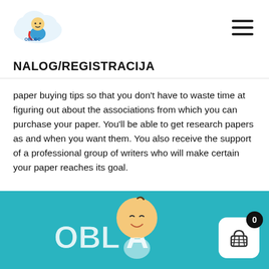[Figure (logo): Baby superhero logo with text OBLA GC on a cloud shape]
[Figure (illustration): Hamburger menu icon (three horizontal lines)]
NALOG/REGISTRACIJA
paper buying tips so that you don’t have to waste time at figuring out about the associations from which you can purchase your paper. You’ll be able to get research papers as and when you want them. You also receive the support of a professional group of writers who will make certain your paper reaches its goal.
[Figure (illustration): Teal/cyan footer area with OBLA baby character illustration and shopping cart button with badge showing 0]